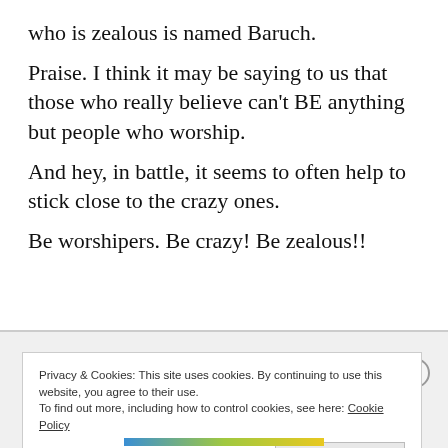who is zealous is named Baruch.
Praise. I think it may be saying to us that those who really believe can’t BE anything but people who worship.
And hey, in battle, it seems to often help to stick close to the crazy ones.
Be worshipers. Be crazy! Be zealous!!
Privacy & Cookies: This site uses cookies. By continuing to use this website, you agree to their use. To find out more, including how to control cookies, see here: Cookie Policy
Close and accept